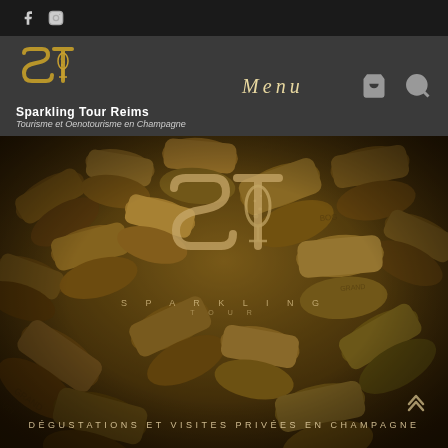f  IG (social icons bar)
[Figure (logo): ST logo — stylized S and T letters with wine glass motif in gold, with text 'Sparkling Tour Reims' and 'Tourisme et Oenotourisme en Champagne']
Menu
[Figure (photo): Close-up photograph of many wine corks piled together, with warm brown/amber tones and dark vignette]
[Figure (logo): Large semi-transparent ST logo (Sparkling Tour) watermark overlaid on cork photo]
SPARKLING
TOUR
DÉGUSTATIONS ET VISITES PRIVÉES EN CHAMPAGNE